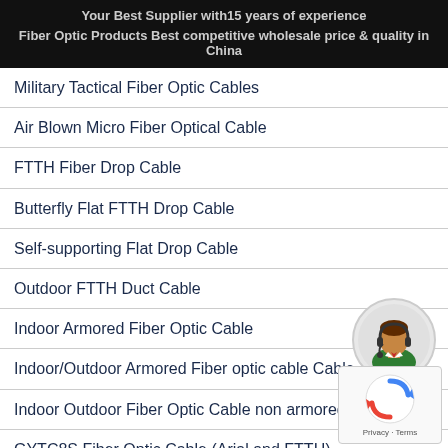Your Best Supplier with15 years of experience
Fiber Optic Products Best competitive wholesale price & quality in China
Military Tactical Fiber Optic Cables
Air Blown Micro Fiber Optical Cable
FTTH Fiber Drop Cable
Butterfly Flat FTTH Drop Cable
Self-supporting Flat Drop Cable
Outdoor FTTH Duct Cable
Indoor Armored Fiber Optic Cable
Indoor/Outdoor Armored Fiber optic cable Cable
Indoor Outdoor Fiber Optic Cable non armored
GYTC8S Fiber Optic Cable (Arial and FTTH)
[Figure (illustration): Customer service representative icon (headset avatar)]
[Figure (illustration): Google reCAPTCHA widget with Privacy and Terms text]